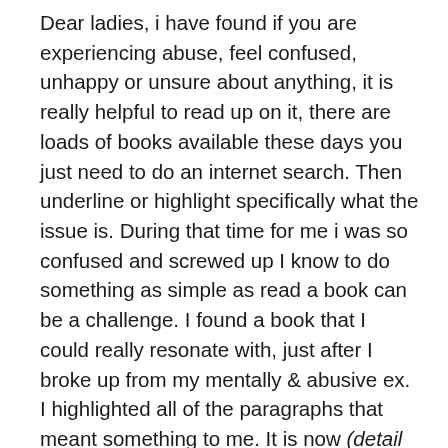Dear ladies, i have found if you are experiencing abuse, feel confused, unhappy or unsure about anything, it is really helpful to read up on it, there are loads of books available these days you just need to do an internet search. Then underline or highlight specifically what the issue is. During that time for me i was so confused and screwed up I know to do something as simple as read a book can be a challenge. I found a book that I could really resonate with, just after I broke up from my mentally & abusive ex. I highlighted all of the paragraphs that meant something to me. It is now (detail removed by Moderator) months on and my whole thought processes have changed, sometimes i miss him and feel sad. I have just picked up that book again and looked at the highlighted paragraphs. I have not been able to make sense of my feelings over these last (detail removed by Moderator) months and the emptyness that I feel sometimes now. Reading my old book has really helped me and I plan to re read it again tonight. The book is called 30 Covert Emotional Manipulation Tactics: How Manipulators